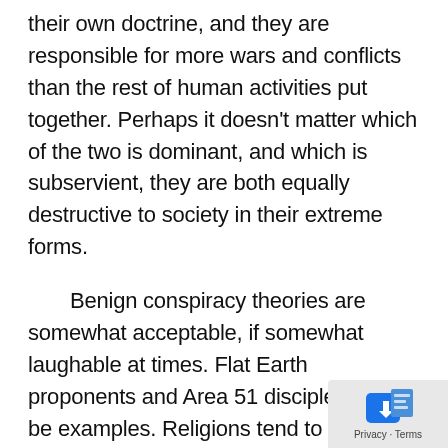their own doctrine, and they are responsible for more wars and conflicts than the rest of human activities put together. Perhaps it doesn't matter which of the two is dominant, and which is subservient, they are both equally destructive to society in their extreme forms.
Benign conspiracy theories are somewhat acceptable, if somewhat laughable at times. Flat Earth proponents and Area 51 disciples would be examples. Religions tend to be much more serious and therefore, much more dangerous, although, if they keep to themselves, and don't bother other people, they can also be benign. However, have you ever met a religious fanatic of any denomination who didn't try and convert you to their "true faith", so "religiously be[nign]" is almost certainly an oxymoron.